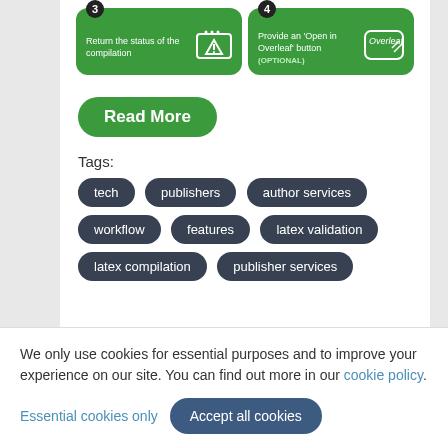[Figure (infographic): Two green step boxes: Step 3 'Return the status of the compilation' with warning icon, Step 4 'Provide an Open in Overleaf button (OPTIONAL)' with Overleaf logo]
Read More
Tags:
tech
publishers
author services
workflow
features
latex validation
latex compilation
publisher services
We only use cookies for essential purposes and to improve your experience on our site. You can find out more in our cookie policy.
Essential cookies only    Accept all cookies